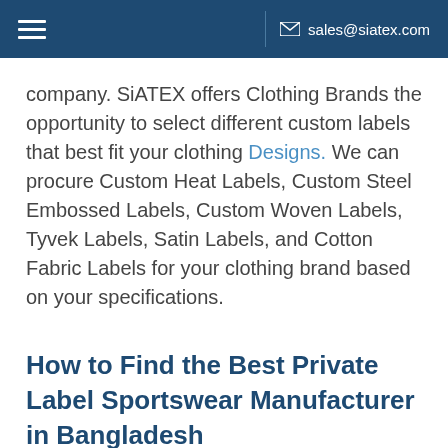sales@siatex.com
company. SiATEX offers Clothing Brands the opportunity to select different custom labels that best fit your clothing Designs. We can procure Custom Heat Labels, Custom Steel Embossed Labels, Custom Woven Labels, Tyvek Labels, Satin Labels, and Cotton Fabric Labels for your clothing brand based on your specifications.
How to Find the Best Private Label Sportswear Manufacturer in Bangladesh